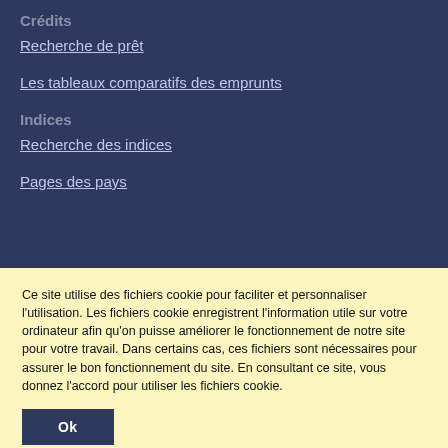Crédits
Recherche de prêt
Les tableaux comparatifs des emprunts
Indices
Recherche des indices
Pages des pays
Ce site utilise des fichiers cookie pour faciliter et personnaliser l'utilisation. Les fichiers cookie enregistrent l'information utile sur votre ordinateur afin qu'on puisse améliorer le fonctionnement de notre site pour votre travail. Dans certains cas, ces fichiers sont nécessaires pour assurer le bon fonctionnement du site. En consultant ce site, vous donnez l'accord pour utiliser les fichiers cookie.
Ok